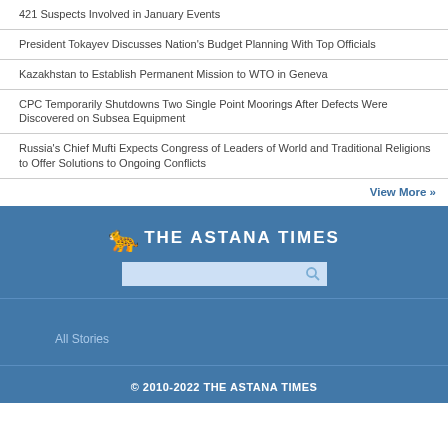421 Suspects Involved in January Events
President Tokayev Discusses Nation's Budget Planning With Top Officials
Kazakhstan to Establish Permanent Mission to WTO in Geneva
CPC Temporarily Shutdowns Two Single Point Moorings After Defects Were Discovered on Subsea Equipment
Russia's Chief Mufti Expects Congress of Leaders of World and Traditional Religions to Offer Solutions to Ongoing Conflicts
View More »
[Figure (logo): The Astana Times logo with snow leopard icon and search bar on blue background]
All Stories
© 2010-2022 THE ASTANA TIMES